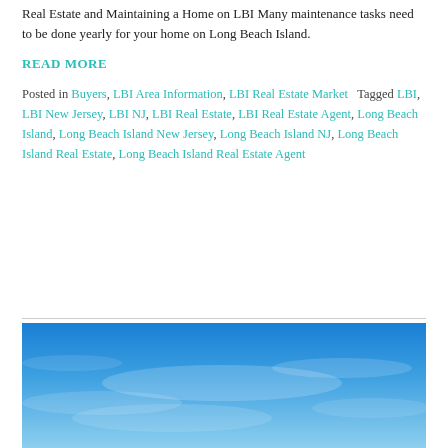Real Estate and Maintaining a Home on LBI Many maintenance tasks need to be done yearly for your home on Long Beach Island.
READ MORE
Posted in Buyers, LBI Area Information, LBI Real Estate Market   Tagged LBI, LBI New Jersey, LBI NJ, LBI Real Estate, LBI Real Estate Agent, Long Beach Island, Long Beach Island New Jersey, Long Beach Island NJ, Long Beach Island Real Estate, Long Beach Island Real Estate Agent
[Figure (photo): Blue sky with light clouds, photo partially visible at bottom of page]